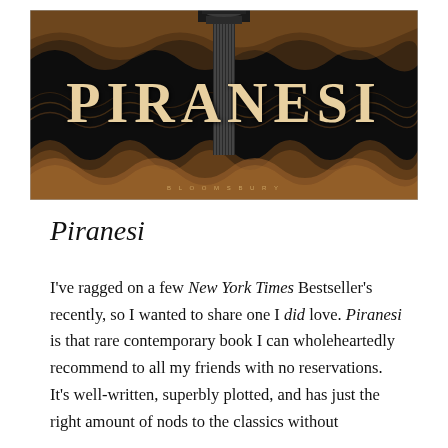[Figure (illustration): Book cover of Piranesi by Bloomsbury — dark background with swirling decorative wave patterns in copper/bronze, a tall classical column in the center, and large serif lettering spelling PIRANESI across the middle.]
Piranesi
I've ragged on a few New York Times Bestseller's recently, so I wanted to share one I did love. Piranesi is that rare contemporary book I can wholeheartedly recommend to all my friends with no reservations. It's well-written, superbly plotted, and has just the right amount of nods to the classics without